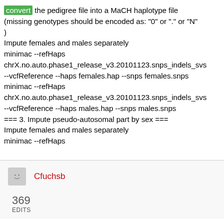convert the pedigree file into a MaCH haplotype file (missing genotypes should be encoded as: "0" or "." or "N" ) Impute females and males separately minimac --refHaps chrX.no.auto.phase1_release_v3.20101123.snps_indels_svs --vcfReference --haps females.hap --snps females.snps minimac --refHaps chrX.no.auto.phase1_release_v3.20101123.snps_indels_svs --vcfReference --haps males.hap --snps males.snps === 3. Impute pseudo-autosomal part by sex === Impute females and males separately minimac --refHaps
Cfuchsb
369 EDITS